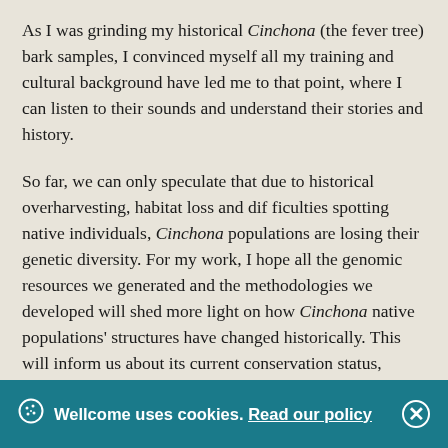As I was grinding my historical Cinchona (the fever tree) bark samples, I convinced myself all my training and cultural background have led me to that point, where I can listen to their sounds and understand their stories and history.
So far, we can only speculate that due to historical overharvesting, habitat loss and difficulties spotting native individuals, Cinchona populations are losing their genetic diversity. For my work, I hope all the genomic resources we generated and the methodologies we developed will shed more light on how Cinchona native populations' structures have changed historically. This will inform us about its current conservation status, which will ultimately guide future conservation efforts and policies.
Wellcome uses cookies. Read our policy